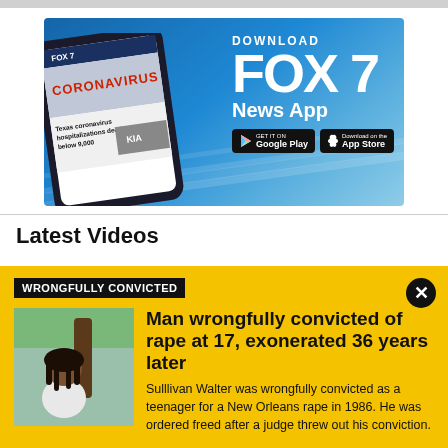[Figure (advertisement): Fox 7 News App download advertisement showing a smartphone with the Fox 7 app, with text 'DOWNLOAD FOX 7 News App' and Google Play and App Store buttons]
Latest Videos
WRONGFULLY CONVICTED
Man wrongfully convicted of rape at 17, exonerated 36 years later
Sulllivan Walter was wrongfully convicted as a teenager for a New Orleans rape in 1986. He was ordered freed after a judge threw out his conviction.